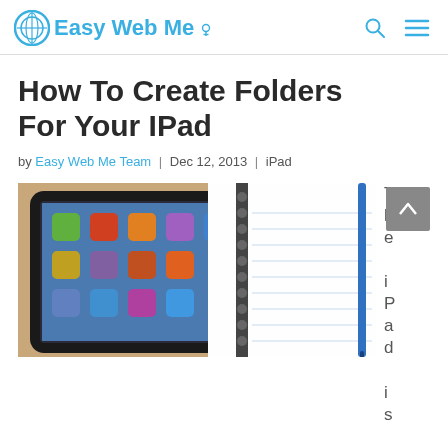Easy Web Me
How To Create Folders For Your IPad
by Easy Web Me Team | Dec 12, 2013 | iPad
[Figure (photo): An iPad device lying next to a spiral notebook on a wooden table, with a blue pen nearby]
The iPad is